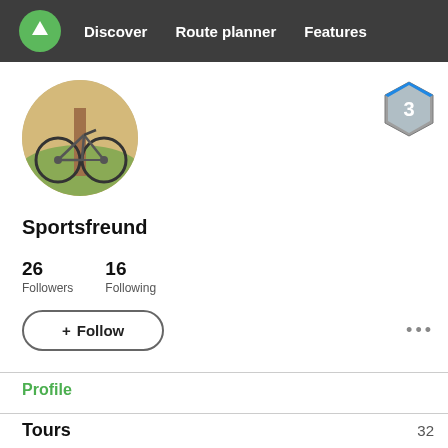Discover  Route planner  Features
[Figure (photo): Circular profile photo showing a mountain bike leaning against a wooden post in a grassy outdoor field with warm sunlit tones]
[Figure (illustration): Blue and grey hexagonal badge with number 3 in the center, indicating user level 3]
Sportsfreund
26 Followers  16 Following
+ Follow
Profile
Tours  32